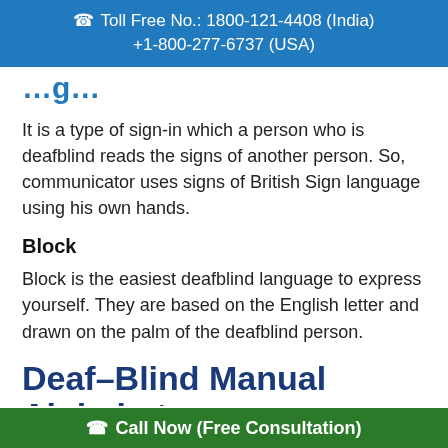Toll Free No.: 1800-121-4408 (India)
+1-800-277-6737 (USA)
...g...
It is a type of sign-in which a person who is deafblind reads the signs of another person. So, communicator uses signs of British Sign language using his own hands.
Block
Block is the easiest deafblind language to express yourself. They are based on the English letter and drawn on the palm of the deafblind person.
Deaf–Blind Manual Alphabet
Call Now (Free Consultation)